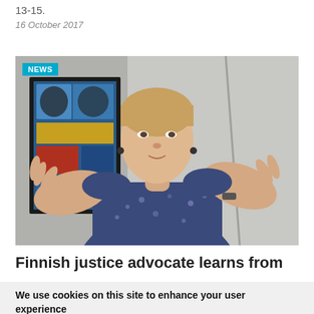13-15.
16 October 2017
[Figure (photo): A young woman with short blonde hair wearing a floral blue dress, gesturing with both hands raised, with an African textile artwork on the wall behind her. A cyan 'NEWS' badge overlays the top-left corner of the image.]
Finnish justice advocate learns from
We use cookies on this site to enhance your user experience